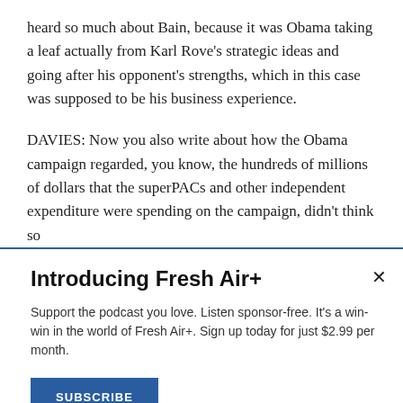heard so much about Bain, because it was Obama taking a leaf actually from Karl Rove's strategic ideas and going after his opponent's strengths, which in this case was supposed to be his business experience.
DAVIES: Now you also write about how the Obama campaign regarded, you know, the hundreds of millions of dollars that the superPACs and other independent expenditure were spending on the campaign, didn't think so
Introducing Fresh Air+
Support the podcast you love. Listen sponsor-free. It's a win-win in the world of Fresh Air+. Sign up today for just $2.99 per month.
SUBSCRIBE